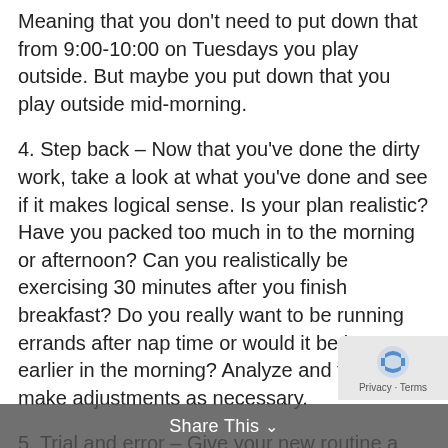Meaning that you don't need to put down that from 9:00-10:00 on Tuesdays you play outside. But maybe you put down that you play outside mid-morning.
4. Step back – Now that you've done the dirty work, take a look at what you've done and see if it makes logical sense. Is your plan realistic? Have you packed too much in to the morning or afternoon? Can you realistically be exercising 30 minutes after you finish breakfast? Do you really want to be running errands after nap time or would it be better earlier in the morning? Analyze and then make adjustments as necessary.
5. Trial and error – Give your new routine a shot for a couple days, maybe three. See how works. You will either find relief in what you've